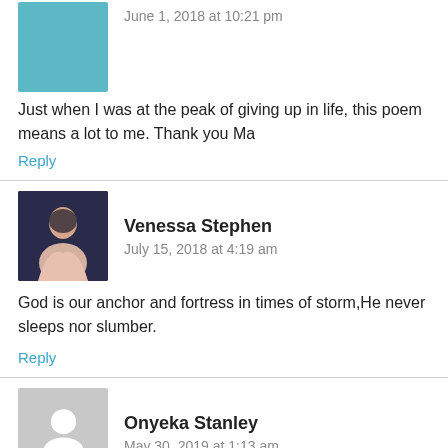June 1, 2018 at 10:21 pm
Just when I was at the peak of giving up in life, this poem means a lot to me. Thank you Ma
Reply
Venessa Stephen
July 15, 2018 at 4:19 am
God is our anchor and fortress in times of storm,He never sleeps nor slumber.
Reply
Onyeka Stanley
May 30, 2019 at 1:13 am
Trust in the Lord with all your heart and lean not on your